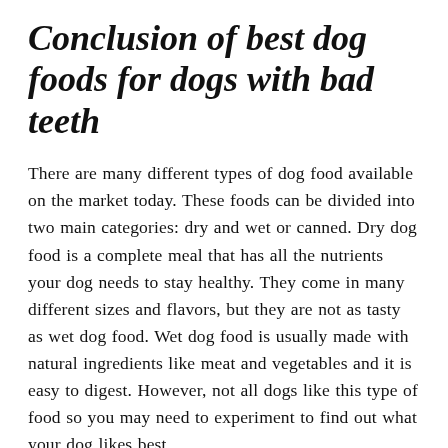Conclusion of best dog foods for dogs with bad teeth
There are many different types of dog food available on the market today. These foods can be divided into two main categories: dry and wet or canned. Dry dog food is a complete meal that has all the nutrients your dog needs to stay healthy. They come in many different sizes and flavors, but they are not as tasty as wet dog food. Wet dog food is usually made with natural ingredients like meat and vegetables and it is easy to digest. However, not all dogs like this type of food so you may need to experiment to find out what your dog likes best.
The best way to determine the best food for dogs with bad teeth is by doing some research online or at